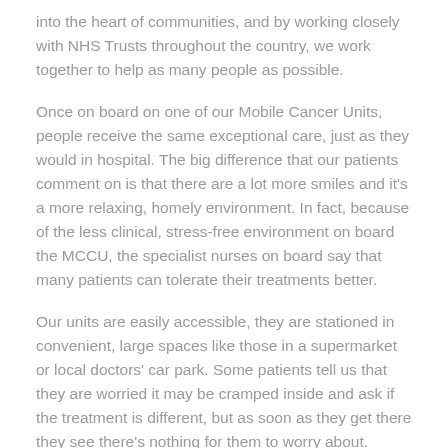into the heart of communities, and by working closely with NHS Trusts throughout the country, we work together to help as many people as possible.
Once on board on one of our Mobile Cancer Units, people receive the same exceptional care, just as they would in hospital. The big difference that our patients comment on is that there are a lot more smiles and it’s a more relaxing, homely environment. In fact, because of the less clinical, stress-free environment on board the MCCU, the specialist nurses on board say that many patients can tolerate their treatments better.
Our units are easily accessible, they are stationed in convenient, large spaces like those in a supermarket or local doctors’ car park. Some patients tell us that they are worried it may be cramped inside and ask if the treatment is different, but as soon as they get there they see there’s nothing for them to worry about.
The MCCUs are deliberately designed to accommodate